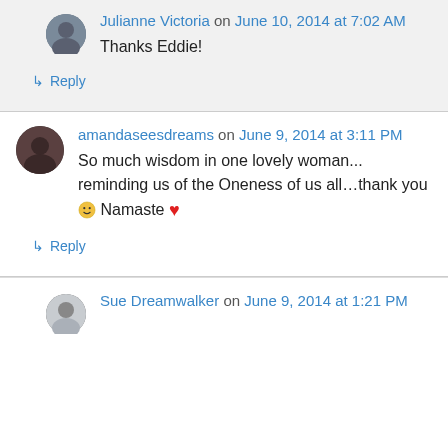Julianne Victoria on June 10, 2014 at 7:02 AM
Thanks Eddie!
↳ Reply
amandaseesdreams on June 9, 2014 at 3:11 PM
So much wisdom in one lovely woman... reminding us of the Oneness of us all…thank you 🙂 Namaste ❤
↳ Reply
Sue Dreamwalker on June 9, 2014 at 1:21 PM